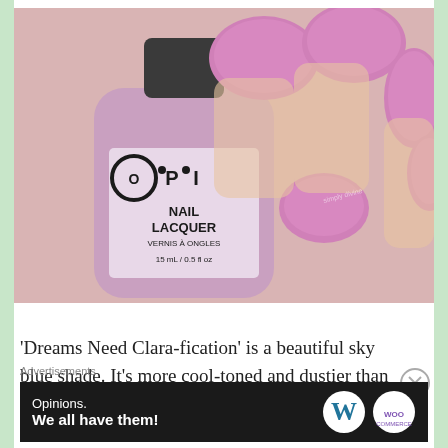[Figure (photo): Close-up photo of a hand with pink/mauve nails holding an OPI Nail Lacquer bottle (VERNIS À ONGLES, 15mL/0.5 fl oz) in a matching pink-purple shade]
‘Dreams Need Clara-fication’ is a beautiful sky blue shade. It’s more cool-toned and dustier than
Advertisements
[Figure (infographic): Dark advertisement banner: 'Opinions. We all have them!' with WordPress (W) logo and WooCommerce logo on right side]